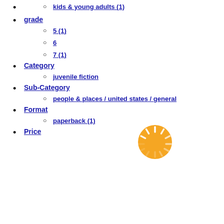kids & young adults (1)
grade
5 (1)
6
7 (1)
Category
juvenile fiction
Sub-Category
people & places / united states / general
Format
paperback (1)
Price